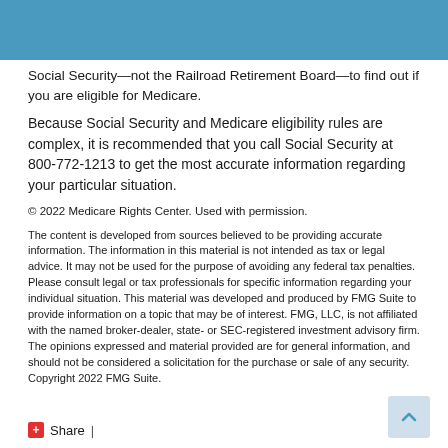Social Security—not the Railroad Retirement Board—to find out if you are eligible for Medicare.
Because Social Security and Medicare eligibility rules are complex, it is recommended that you call Social Security at 800-772-1213 to get the most accurate information regarding your particular situation.
© 2022 Medicare Rights Center. Used with permission.
The content is developed from sources believed to be providing accurate information. The information in this material is not intended as tax or legal advice. It may not be used for the purpose of avoiding any federal tax penalties. Please consult legal or tax professionals for specific information regarding your individual situation. This material was developed and produced by FMG Suite to provide information on a topic that may be of interest. FMG, LLC, is not affiliated with the named broker-dealer, state- or SEC-registered investment advisory firm. The opinions expressed and material provided are for general information, and should not be considered a solicitation for the purchase or sale of any security. Copyright 2022 FMG Suite.
Share |